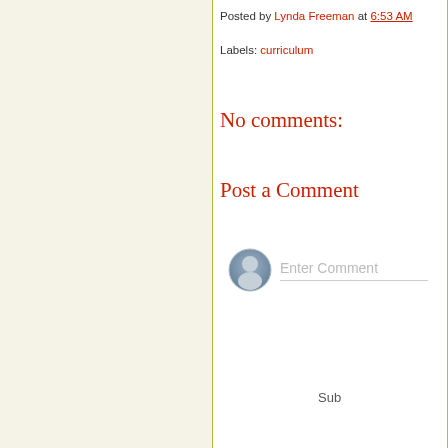Posted by Lynda Freeman at 6:53 AM
Labels: curriculum
No comments:
Post a Comment
[Figure (illustration): User avatar icon — gray silhouette of a person in a circular blue-gray badge, next to an 'Enter Comment' placeholder text field]
Newer Post
Sub